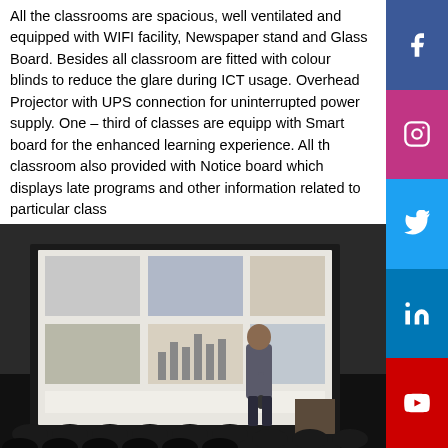All the classrooms are spacious, well ventilated and equipped with WIFI facility, Newspaper stand and Glass Board. Besides all classroom are fitted with colour blinds to reduce the glare during ICT usage. Overhead Projector with UPS connection for uninterrupted power supply. One – third of classes are equipped with Smart board for the enhanced learning experience. All the classroom also provided with Notice board which displays latest programs and other information related to particular class
[Figure (photo): A presenter/lecturer standing in front of a large projection screen in a classroom, holding a microphone, with an audience of students seated and facing the screen. The screen shows a presentation with multiple images.]